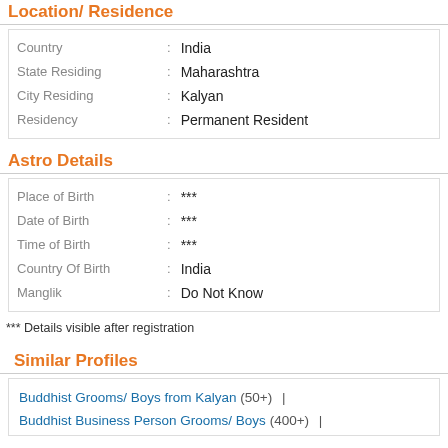Location/ Residence
| Field | Value |
| --- | --- |
| Country | India |
| State Residing | Maharashtra |
| City Residing | Kalyan |
| Residency | Permanent Resident |
Astro Details
| Field | Value |
| --- | --- |
| Place of Birth | *** |
| Date of Birth | *** |
| Time of Birth | *** |
| Country Of Birth | India |
| Manglik | Do Not Know |
*** Details visible after registration
Similar Profiles
Buddhist Grooms/ Boys from Kalyan (50+)  |
Buddhist Business Person Grooms/ Boys (400+)  |